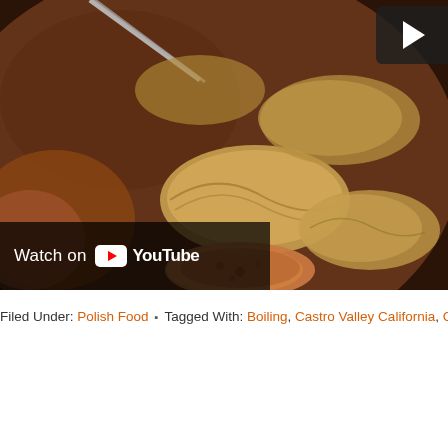[Figure (screenshot): A YouTube video thumbnail/embed showing close-up of Polish dumplings (pierogi) being handled with tongs, with a YouTube 'Watch on YouTube' overlay bar at the bottom and a play button in the top right corner.]
Filed Under: Polish Food ▪ Tagged With: Boiling, Castro Valley California, Cheese, Food, H...